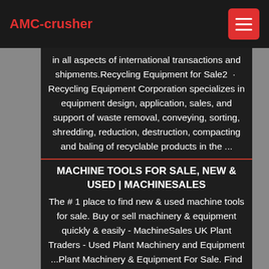AMC-crusher
in all aspects of international transactions and shipments.Recycling Equipment for Sale2 · Recycling Equipment Corporation specializes in equipment design, application, sales, and support of waste removal, conveying, sorting, shredding, reduction, destruction, compacting and baling of recyclable products in the ...
MACHINE TOOLS FOR SALE, NEW & USED | MACHINESALES
The # 1 place to find new & used machine tools for sale. Buy or sell machinery & equipment quickly & easily - MachineSales UK Plant Traders - Used Plant Machinery and Equipment ...Plant Machinery & Equipment For Sale. Find secondhand News